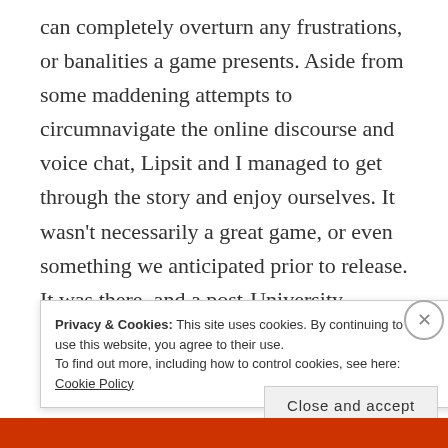can completely overturn any frustrations, or banalities a game presents. Aside from some maddening attempts to circumnavigate the online discourse and voice chat, Lipsit and I managed to get through the story and enjoy ourselves. It wasn't necessarily a great game, or even something we anticipated prior to release. It was there, and a post-University experience to hang out over voice chat was all we needed.
Privacy & Cookies: This site uses cookies. By continuing to use this website, you agree to their use. To find out more, including how to control cookies, see here: Cookie Policy
Close and accept